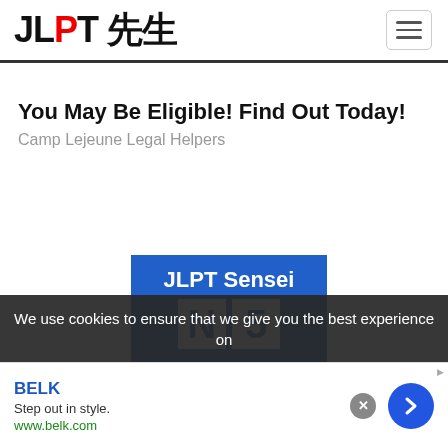JLPT 先生
You May Be Eligible! Find Out Today!
Camp Lejeune Legal Helpers
[Figure (screenshot): Blue JLPT Sensei logo image with white N5 letters on blue background]
We use cookies to ensure that we give you the best experience on
BELK
Step out in style.
www.belk.com